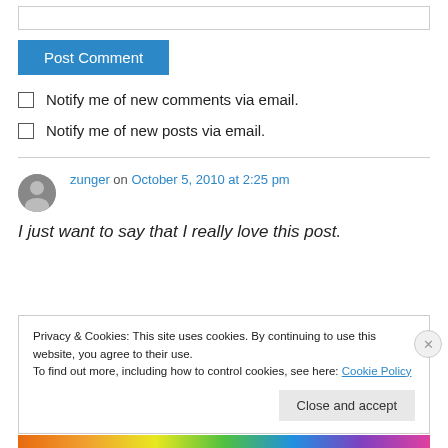[Figure (other): Input text box (top, partially visible)]
Post Comment
Notify me of new comments via email.
Notify me of new posts via email.
zunger on October 5, 2010 at 2:25 pm
I just want to say that I really love this post.
Privacy & Cookies: This site uses cookies. By continuing to use this website, you agree to their use. To find out more, including how to control cookies, see here: Cookie Policy
Close and accept